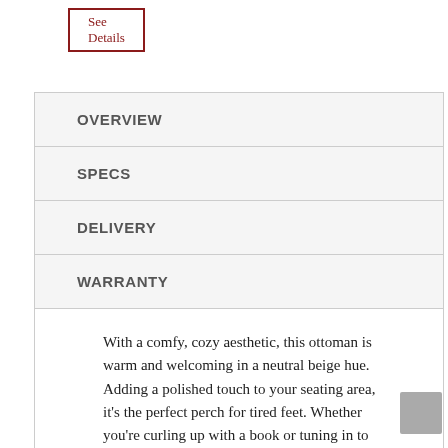See Details
OVERVIEW
SPECS
DELIVERY
WARRANTY
With a comfy, cozy aesthetic, this ottoman is warm and welcoming in a neutral beige hue. Adding a polished touch to your seating area, it's the perfect perch for tired feet. Whether you're curling up with a book or tuning in to TV, this piece brings subtle charm to your space.